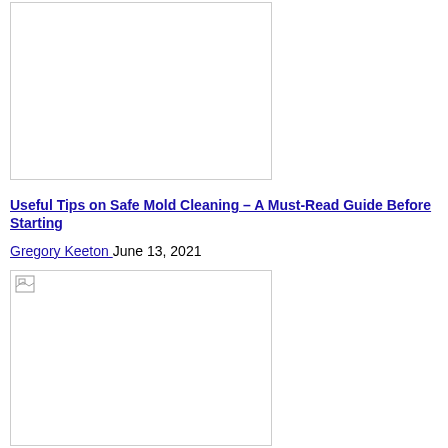[Figure (photo): Top image placeholder, partially visible, white background with border]
Useful Tips on Safe Mold Cleaning – A Must-Read Guide Before Starting
Gregory Keeton June 13, 2021
[Figure (photo): Bottom image placeholder with small broken image icon in top-left corner]